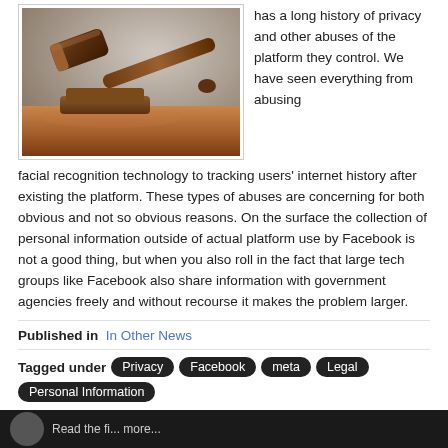[Figure (photo): A wooden judge's gavel resting on a sound block on a wooden surface, photographed against a blurred background.]
has a long history of privacy and other abuses of the platform they control. We have seen everything from abusing facial recognition technology to tracking users' internet history after existing the platform. These types of abuses are concerning for both obvious and not so obvious reasons. On the surface the collection of personal information outside of actual platform use by Facebook is not a good thing, but when you also roll in the fact that large tech groups like Facebook also share information with government agencies freely and without recourse it makes the problem larger.
Published in  In Other News
Tagged under  Privacy  Facebook  meta  Legal  Personal Information